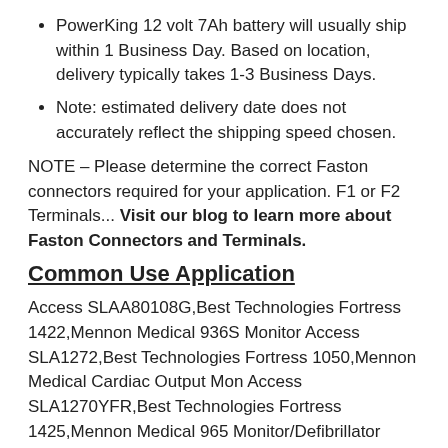PowerKing 12 volt 7Ah battery will usually ship within 1 Business Day. Based on location, delivery typically takes 1-3 Business Days.
Note: estimated delivery date does not accurately reflect the shipping speed chosen.
NOTE – Please determine the correct Faston connectors required for your application. F1 or F2 Terminals... Visit our blog to learn more about Faston Connectors and Terminals.
Common Use Application
Access SLAA80108G,Best Technologies Fortress 1422,Mennon Medical 936S Monitor Access SLA1272,Best Technologies Fortress 1050,Mennon Medical Cardiac Output Mon Access SLA1270YFR,Best Technologies Fortress 1425,Mennon Medical 965 Monitor/Defibrillator Access SLA1270GS,Best Technologies LI-660VA,Mennon Medical 965 Mon/Defib Access SLA1270,Best Technologies Patriot 420,Mennon Medical 936 Defib Access SLA1265,Best